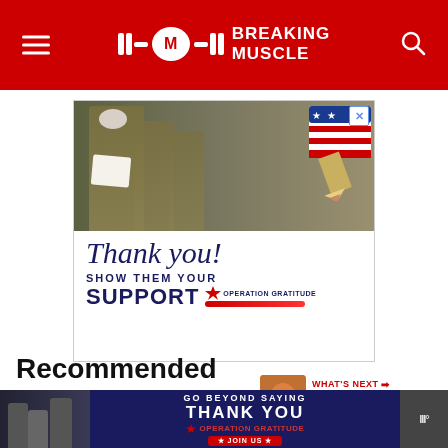Breaking Muscle
[Figure (photo): Advertisement banner for Operation Gratitude showing military personnel in masks and the text 'Thank you! Show them your Support - Operation Gratitude']
WHAT'S NEXT → 9 Articles For Vegan...
Recommended
[Figure (photo): Bottom advertisement banner: Go Beyond Saying Thank You - Operation Gratitude - Join Us]